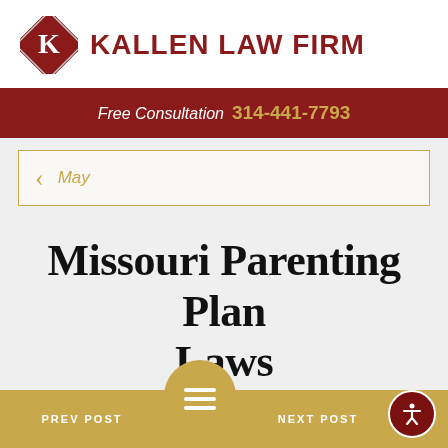[Figure (logo): Kallen Law Firm logo with a red diamond-shaped K icon and bold red text reading KALLEN LAW FIRM]
Free Consultation 314-441-7793
< May
Missouri Parenting Plan Laws
May 15, 2020
PREV POST   NEXT POST